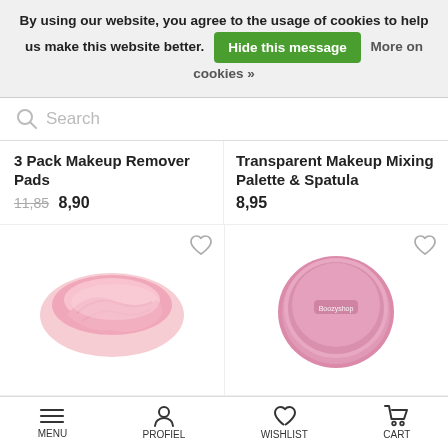By using our website, you agree to the usage of cookies to help us make this website better. Hide this message More on cookies »
Search
3 Pack Makeup Remover Pads
11,85  8,90
Transparent Makeup Mixing Palette & Spatula
8,95
[Figure (photo): Pink rolled-up makeup eraser towel on white background]
[Figure (photo): Pink circular makeup remover pad with Boozyshop label on white background]
Boozyshop ★★★★★ (2)
Makeup Eraser Towel
Boozyshop ☆☆☆☆☆ (0)
Makeup Remover Pad
MENU  PROFIEL  WISHLIST  CART